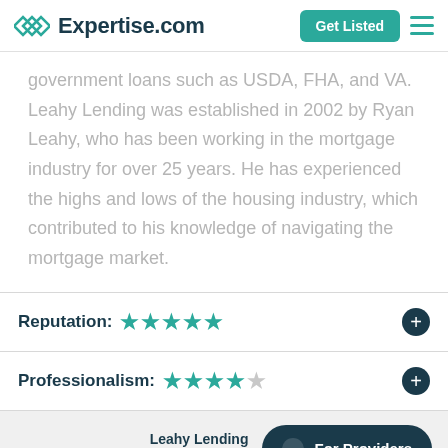Expertise.com
government loans such as USDA, FHA, and VA. Leahy Lending was established in 2002 by Ryan Leahy, who has been working in the mortgage industry for over 25 years. He has experienced the highs and lows of the housing industry, which contributed to his knowledge of navigating the mortgage market.
Reputation: ★★★★★
Professionalism: ★★★★☆
Leahy Lending Contact Now  For Providers